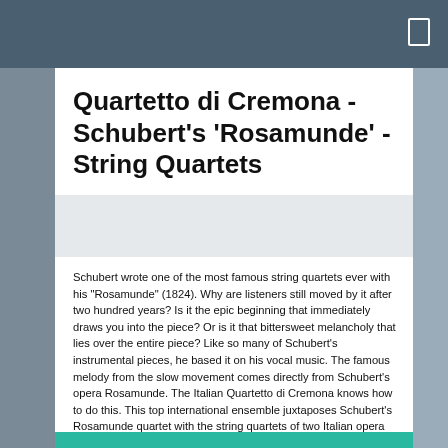Quartetto di Cremona - Schubert's 'Rosamunde' - String Quartets
[Figure (photo): Blurred background photo showing concert/music venue imagery]
Schubert wrote one of the most famous string quartets ever with his "Rosamunde" (1824). Why are listeners still moved by it after two hundred years? Is it the epic beginning that immediately draws you into the piece? Or is it that bittersweet melancholy that lies over the entire piece? Like so many of Schubert's instrumental pieces, he based it on his vocal music. The famous melody from the slow movement comes directly from Schubert's opera Rosamunde. The Italian Quartetto di Cremona knows how to do this. This top international ensemble juxtaposes Schubert's Rosamunde quartet with the string quartets of two Italian opera giants: Giuseppe Verdi and Giacomo Puccini